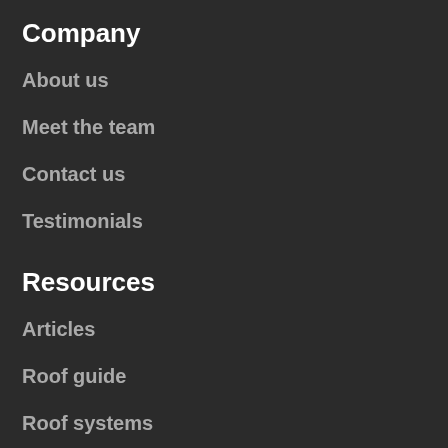Company
About us
Meet the team
Contact us
Testimonials
Resources
Articles
Roof guide
Roof systems
Roof styles
Roofing Shingle Warranties